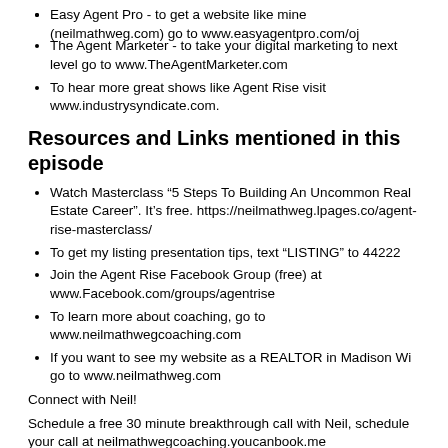Easy Agent Pro - to get a website like mine (neilmathweg.com) go to www.easyagentpro.com/oj
The Agent Marketer - to take your digital marketing to next level go to www.TheAgentMarketer.com
To hear more great shows like Agent Rise visit www.industrysyndicate.com.
Resources and Links mentioned in this episode
Watch Masterclass “5 Steps To Building An Uncommon Real Estate Career”. It’s free. https://neilmathweg.lpages.co/agent-rise-masterclass/
To get my listing presentation tips, text “LISTING” to 44222
Join the Agent Rise Facebook Group (free) at www.Facebook.com/groups/agentrise
To learn more about coaching, go to www.neilmathwegcoaching.com
If you want to see my website as a REALTOR in Madison Wi go to www.neilmathweg.com
Connect with Neil!
Schedule a free 30 minute breakthrough call with Neil, schedule your call at neilmathwegcoaching.youcanbook.me
And connect with me on ANY of the following social channels. I LOVE social!